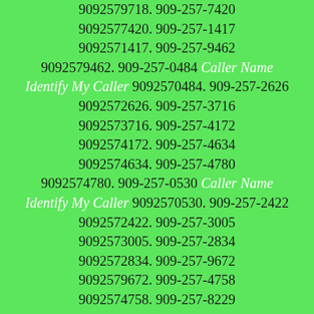9092579718. 909-257-7420 9092577420. 909-257-1417 9092571417. 909-257-9462 9092579462. 909-257-0484 Caller Name Identify My Caller 9092570484. 909-257-2626 9092572626. 909-257-3716 9092573716. 909-257-4172 9092574172. 909-257-4634 9092574634. 909-257-4780 9092574780. 909-257-0530 Caller Name Identify My Caller 9092570530. 909-257-2422 9092572422. 909-257-3005 9092573005. 909-257-2834 9092572834. 909-257-9672 9092579672. 909-257-4758 9092574758. 909-257-8229 9092578229. 909-257-2604 9092572604. 909-257-5945 9092575945. 909-257-8956 9092578956. 909-257-8955 9092578955. 909-257-8166 9092578166. 909-257-7170 9092577170. 909-257-4340 9092574340. 909-257-4424 9092574424. 909-257-3813